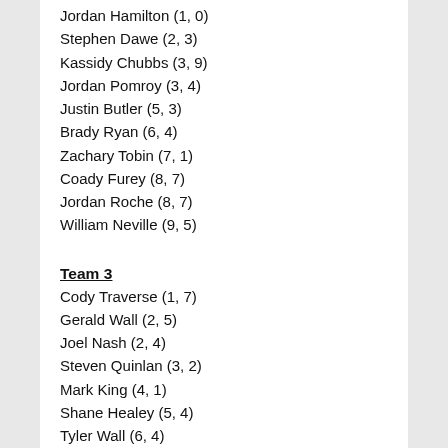Jordan Hamilton (1, 0)
Stephen Dawe (2, 3)
Kassidy Chubbs (3, 9)
Jordan Pomroy (3, 4)
Justin Butler (5, 3)
Brady Ryan (6, 4)
Zachary Tobin (7, 1)
Coady Furey (8, 7)
Jordan Roche (8, 7)
William Neville (9, 5)
Team 3
Cody Traverse (1, 7)
Gerald Wall (2, 5)
Joel Nash (2, 4)
Steven Quinlan (3, 2)
Mark King (4, 1)
Shane Healey (5, 4)
Tyler Wall (6, 4)
Brady Clarke (7, 9)